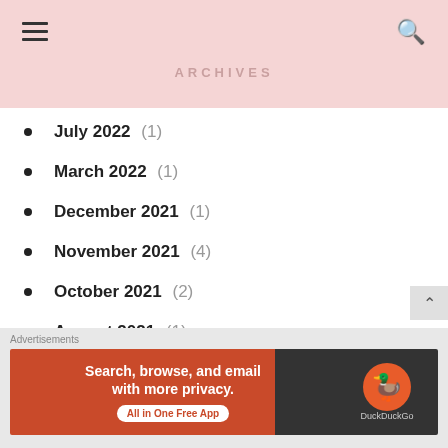ARCHIVES
July 2022 (1)
March 2022 (1)
December 2021 (1)
November 2021 (4)
October 2021 (2)
August 2021 (1)
June 2021 (3)
May 2021 (2)
[Figure (screenshot): DuckDuckGo advertisement banner: 'Search, browse, and email with more privacy. All in One Free App' with DuckDuckGo logo on dark background]
Advertisements